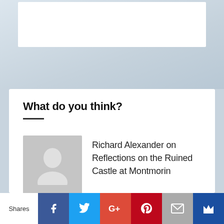What do you think?
Richard Alexander on Reflections on the Ruined Castle at Montmorin
wheatypetesworld on Reflections on the Ruined Castle at Montmorin
Richard Alexander on VALENCE: France's “Gateway to the South” has a big-city
Shares